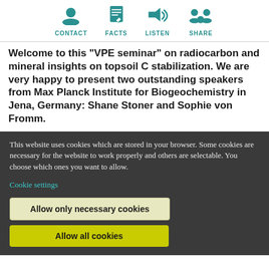CONTACT  FACTS  LISTEN  SHARE
Welcome to this "VPE seminar" on radiocarbon and mineral insights on topsoil C stabilization. We are very happy to present two outstanding speakers from Max Planck Institute for Biogeochemistry in Jena, Germany: Shane Stoner and Sophie von Fromm.
This website uses cookies which are stored in your browser. Some cookies are necessary for the website to work properly and others are selectable. You choose which ones you want to allow.
Cookie settings
Allow only necessary cookies
Allow all cookies